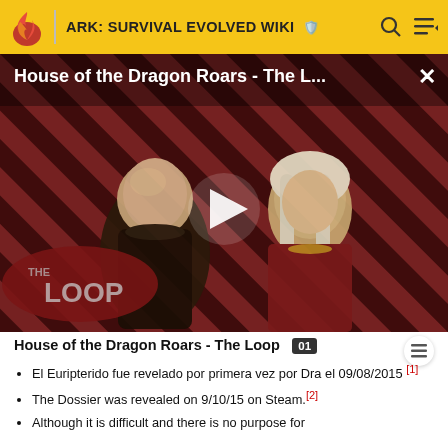ARK: SURVIVAL EVOLVED WIKI
[Figure (screenshot): Video thumbnail for 'House of the Dragon Roars - The L...' showing two medieval fantasy characters against a red and black diagonal stripe background with 'THE LOOP' branding and a white play button in the center.]
House of the Dragon Roars - The Loop
El Euripterido fue revelado por primera vez por Dra el 09/08/2015 [1]
The Dossier was revealed on 9/10/15 on Steam.[2]
Although it is difficult and there is no purpose for